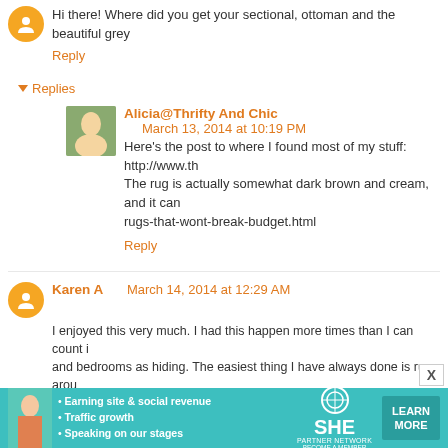Hi there! Where did you get your sectional, ottoman and the beautiful grey
Reply
Replies
Alicia@Thrifty And Chic   March 13, 2014 at 10:19 PM
Here's the post to where I found most of my stuff: http://www.th... The rug is actually somewhat dark brown and cream, and it can... rugs-that-wont-break-budget.html
Reply
Karen A  March 14, 2014 at 12:29 AM
I enjoyed this very much. I had this happen more times than I can count i... and bedrooms as hiding. The easiest thing I have always done is run arou... be picked up. Then grab another! and another if need be. The times that I... over the top of them. It sort of looked like it was drying there even thoug... the floor look clean then the house will look clean. So.. pick up and sweep
Reply
[Figure (infographic): SHE Partner Network advertisement banner with teal background, woman photo, bullet points about earning site & social revenue, traffic growth, speaking on our stages, SHE logo, and LEARN MORE button]